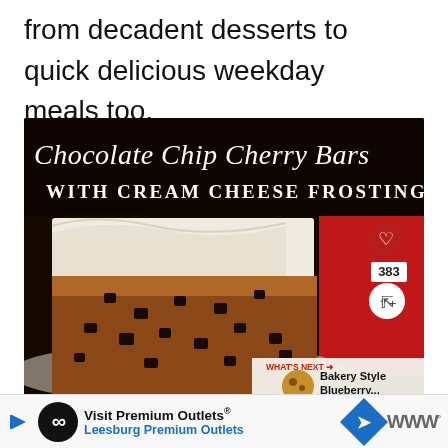from decadent desserts to quick delicious weekday meals too.
[Figure (photo): Photo of Chocolate Chip Cherry Bars with Cream Cheese Frosting. Dark background with script and serif title text overlay. Shows a close-up of a bar dessert with thick white cream cheese frosting on top and chocolate chips visible in the brown cake base. Red background visible behind. Social media UI elements: heart button, share count 383, share icon. 'What's Next' panel shows Bakery Style Blueberry...]
Visit Premium Outlets® Leesburg Premium Outlets